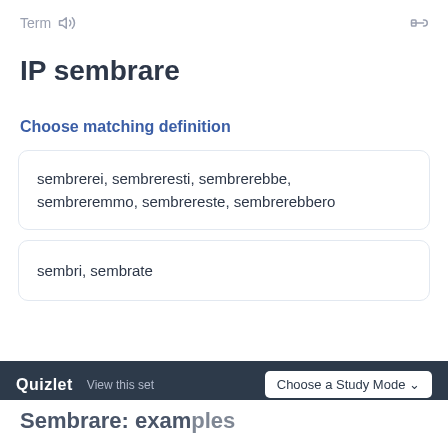Term
IP sembrare
Choose matching definition
sembrerei, sembreresti, sembrerebbe, sembreremmo, sembrereste, sembrerebbero
sembri, sembrate
Quizlet  View this set  Choose a Study Mode
Sembrare: examples